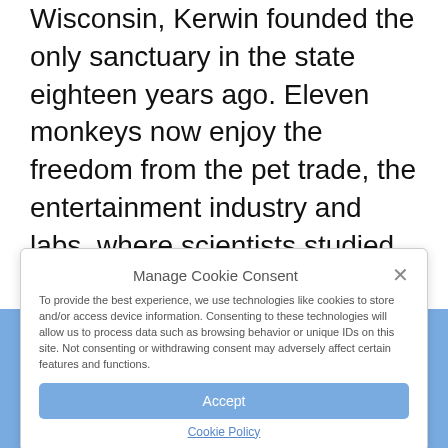While working in the lab at the University of Wisconsin, Kerwin founded the only sanctuary in the state eighteen years ago. Eleven monkeys now enjoy the freedom from the pet trade, the entertainment industry and labs, where scientists studied the primates because of their similarities to humans.
"I thought that since we were getting funding to test on them because of their similarities, the very least we could do is send them to sanctuaries after," Kerwin added.
Manage Cookie Consent

To provide the best experience, we use technologies like cookies to store and/or access device information. Consenting to these technologies will allow us to process data such as browsing behavior or unique IDs on this site. Not consenting or withdrawing consent may adversely affect certain features and functions.

Accept

Cookie Policy
Alyssa Smolensky started off as a volunteer with the non-profit but is now on the board of directors.